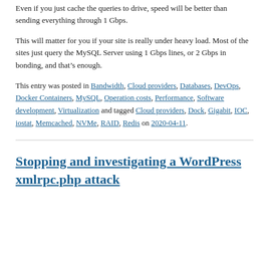Even if you just cache the queries to drive, speed will be better than sending everything through 1 Gbps.
This will matter for you if your site is really under heavy load. Most of the sites just query the MySQL Server using 1 Gbps lines, or 2 Gbps in bonding, and that’s enough.
This entry was posted in Bandwidth, Cloud providers, Databases, DevOps, Docker Containers, MySQL, Operation costs, Performance, Software development, Virtualization and tagged Cloud providers, Dock, Gigabit, IOC, iostat, Memcached, NVMe, RAID, Redis on 2020-04-11.
Stopping and investigating a WordPress xmlrpc.php attack